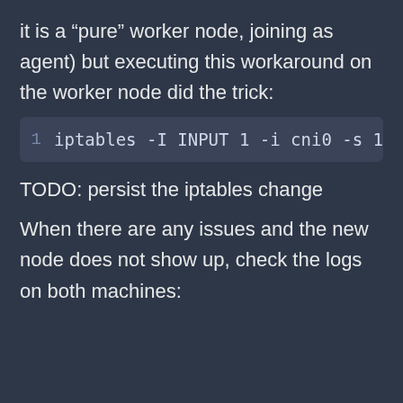it is a “pure” worker node, joining as agent) but executing this workaround on the worker node did the trick:
[Figure (screenshot): Code block showing: 1  iptables -I INPUT 1 -i cni0 -s 10.4...]
TODO: persist the iptables change
When there are any issues and the new node does not show up, check the logs on both machines: